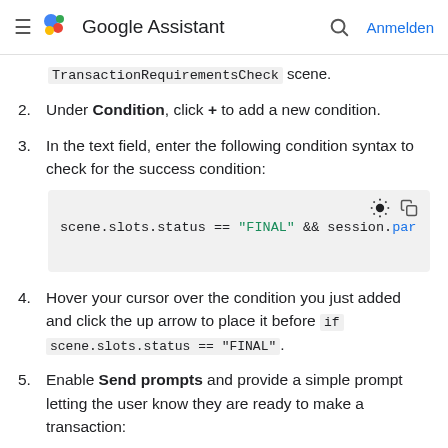Google Assistant | Anmelden
TransactionRequirementsCheck scene.
2. Under Condition, click + to add a new condition.
3. In the text field, enter the following condition syntax to check for the success condition:
[Figure (screenshot): Code block showing: scene.slots.status == "FINAL" && session.par]
4. Hover your cursor over the condition you just added and click the up arrow to place it before if scene.slots.status == "FINAL".
5. Enable Send prompts and provide a simple prompt letting the user know they are ready to make a transaction:
[Figure (screenshot): Partial code block at bottom of page]